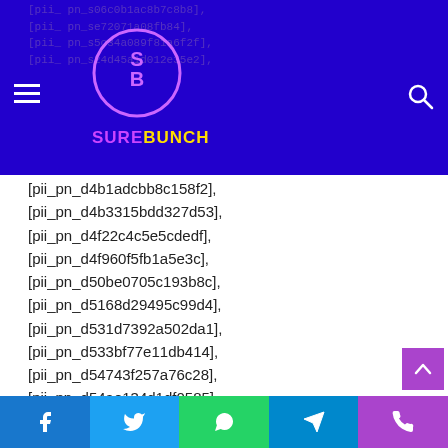SUREBUNCH website header with logo and navigation
[pii_pn_d4b1adcbb8c158f2],
[pii_pn_d4b3315bdd327d53],
[pii_pn_d4f22c4c5e5cdedf],
[pii_pn_d4f960f5fb1a5e3c],
[pii_pn_d50be0705c193b8c],
[pii_pn_d5168d29495c99d4],
[pii_pn_d531d7392a502da1],
[pii_pn_d533bf77e11db414],
[pii_pn_d54743f257a76c28],
[pii_pn_d54ae134d1df0585],
[pii_pn_d5866625fecae8ff7138],
[pii_pn_d590168babd433c4],
Social share buttons: Facebook, Twitter, WhatsApp, Telegram, Phone